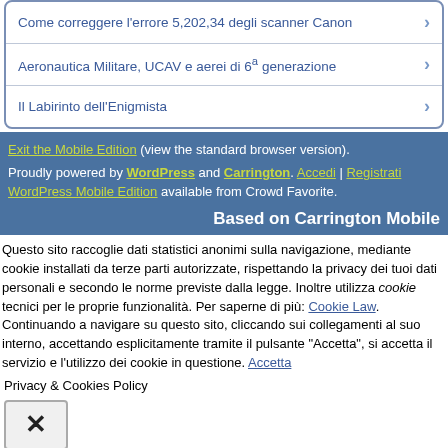Come correggere l'errore 5,202,34 degli scanner Canon
Aeronautica Militare, UCAV e aerei di 6ª generazione
Il Labirinto dell'Enigmista
Exit the Mobile Edition (view the standard browser version).
Proudly powered by WordPress and Carrington. Accedi | Registrati
WordPress Mobile Edition available from Crowd Favorite.
Based on Carrington Mobile
Questo sito raccoglie dati statistici anonimi sulla navigazione, mediante cookie installati da terze parti autorizzate, rispettando la privacy dei tuoi dati personali e secondo le norme previste dalla legge. Inoltre utilizza cookie tecnici per le proprie funzionalità. Per saperne di più: Cookie Law. Continuando a navigare su questo sito, cliccando sui collegamenti al suo interno, accettando esplicitamente tramite il pulsante "Accetta", si accetta il servizio e l'utilizzo dei cookie in questione. Accetta
Privacy & Cookies Policy